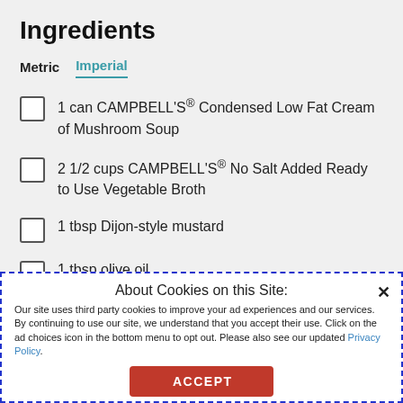Ingredients
Metric   Imperial
1 can CAMPBELL'S® Condensed Low Fat Cream of Mushroom Soup
2 1/2 cups CAMPBELL'S® No Salt Added Ready to Use Vegetable Broth
1 tbsp Dijon-style mustard
1 tbsp olive oil
About Cookies on this Site:
Our site uses third party cookies to improve your ad experiences and our services. By continuing to use our site, we understand that you accept their use. Click on the ad choices icon in the bottom menu to opt out. Please also see our updated Privacy Policy.
ACCEPT